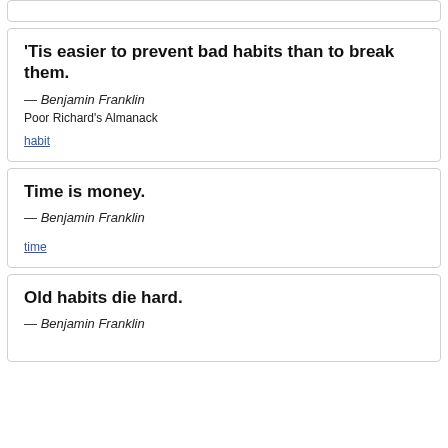(partial link at top)
'Tis easier to prevent bad habits than to break them.
— Benjamin Franklin
Poor Richard's Almanack
habit
Time is money.
— Benjamin Franklin
time
Old habits die hard.
— Benjamin Franklin